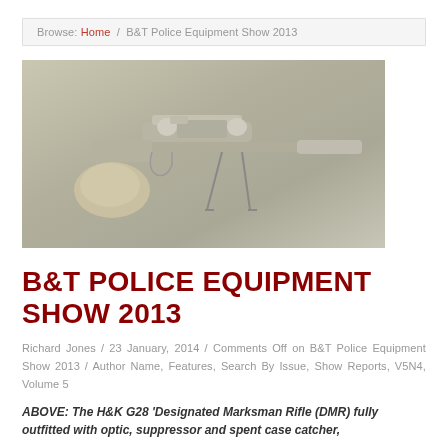Browse: Home / B&T Police Equipment Show 2013
[Figure (photo): Photo of H&K G28 Designated Marksman Rifle with optic, suppressor and spent case catcher, fitted on a bipod, resting on a surface]
B&T POLICE EQUIPMENT SHOW 2013
Richard Jones / 23 January, 2014 / Comments Off on B&T Police Equipment Show 2013 / Author Name, Features, Search By Issue, Show Reports, V5N4, Volume 5
ABOVE: The H&K G28 'Designated Marksman Rifle (DMR) fully outfitted with optic, suppressor and spent case catcher,